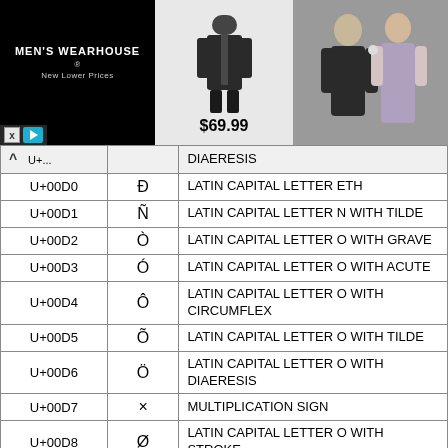[Figure (photo): Men's Wearhouse advertisement banner showing logo, a person in a suit, price $69.99, and a couple in formal wear]
| Code | Char | Name |
| --- | --- | --- |
|  |  | DIAERESIS |
| U+00D0 | Ð | LATIN CAPITAL LETTER ETH |
| U+00D1 | Ñ | LATIN CAPITAL LETTER N WITH TILDE |
| U+00D2 | Ò | LATIN CAPITAL LETTER O WITH GRAVE |
| U+00D3 | Ó | LATIN CAPITAL LETTER O WITH ACUTE |
| U+00D4 | Ô | LATIN CAPITAL LETTER O WITH CIRCUMFLEX |
| U+00D5 | Õ | LATIN CAPITAL LETTER O WITH TILDE |
| U+00D6 | Ö | LATIN CAPITAL LETTER O WITH DIAERESIS |
| U+00D7 | × | MULTIPLICATION SIGN |
| U+00D8 | Ø | LATIN CAPITAL LETTER O WITH STROKE |
| U+00D9 | Ù | LATIN CAPITAL LETTER U WITH |